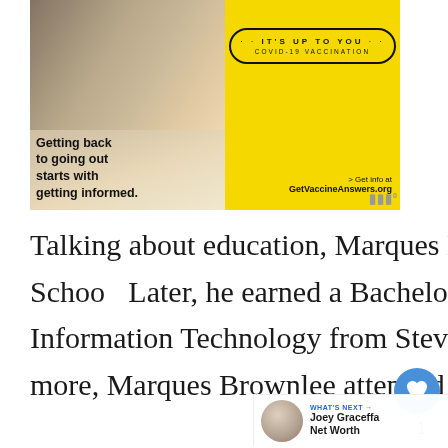[Figure (infographic): COVID-19 vaccination advertisement banner. Left side shows photo of young people laughing with text 'Getting back to going out starts with getting informed.' Right side is yellow background with badge reading 'IT'S UP TO YOU COVID-19 VACCINATION' and text '> Get info at GetVaccineAnswers.org']
Talking about education, Marques Brownlee attended Columbia High School. Later, he earned a Bachelor of Science degree in Business and Information Technology from Stevens Institute of Technology. What's more, Marques Brownlee attended the Center for Talented